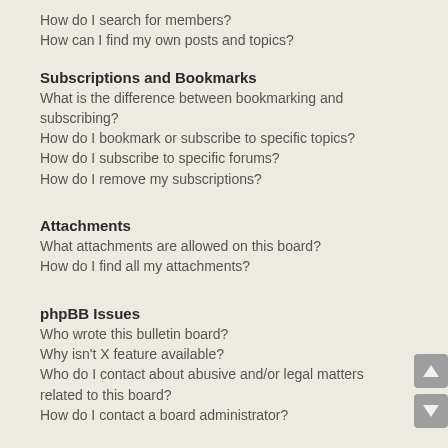How do I search for members?
How can I find my own posts and topics?
Subscriptions and Bookmarks
What is the difference between bookmarking and subscribing?
How do I bookmark or subscribe to specific topics?
How do I subscribe to specific forums?
How do I remove my subscriptions?
Attachments
What attachments are allowed on this board?
How do I find all my attachments?
phpBB Issues
Who wrote this bulletin board?
Why isn't X feature available?
Who do I contact about abusive and/or legal matters related to this board?
How do I contact a board administrator?